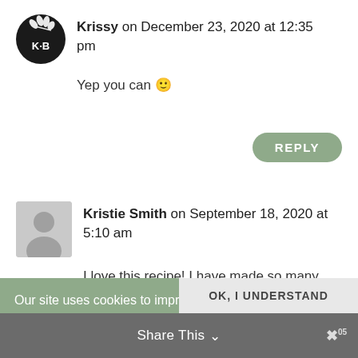Krissy on December 23, 2020 at 12:35 pm
Yep you can 🙂
REPLY
Kristie Smith on September 18, 2020 at 5:10 am
I love this recipe! I have made so many
Our site uses cookies to improve your experience. By continuing to use our site, you are agreeing to our Privacy Policy
OK, I UNDERSTAND
Share This